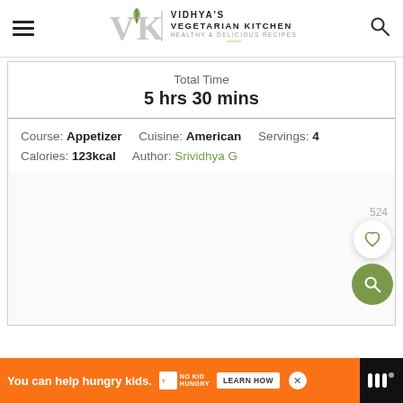Vidhya's Vegetarian Kitchen — Healthy & Delicious Recipes
Total Time
5 hrs 30 mins
Course: Appetizer   Cuisine: American   Servings: 4
Calories: 123kcal   Author: Srividhya G